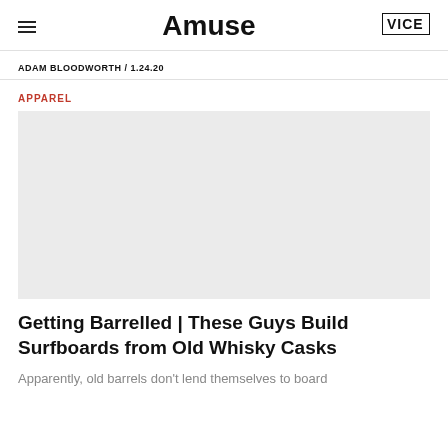Amuse
ADAM BLOODWORTH / 1.24.20
APPAREL
[Figure (photo): Light gray placeholder image for article photo]
Getting Barrelled | These Guys Build Surfboards from Old Whisky Casks
Apparently, old barrels don't lend themselves to board